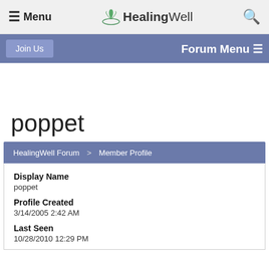≡ Menu  HealingWell  🔍
Join Us   Forum Menu ≡
poppet
HealingWell Forum > Member Profile
Display Name
poppet
Profile Created
3/14/2005 2:42 AM
Last Seen
10/28/2010 12:29 PM